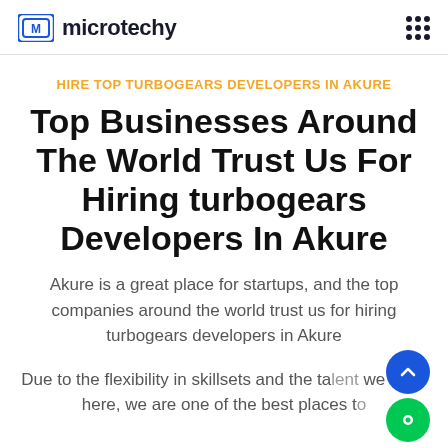microtechy
HIRE TOP TURBOGEARS DEVELOPERS IN AKURE
Top Businesses Around The World Trust Us For Hiring turbogears Developers In Akure
Akure is a great place for startups, and the top companies around the world trust us for hiring turbogears developers in Akure
Due to the flexibility in skillsets and the talent we have here, we are one of the best places to find developers. Developers in Akure